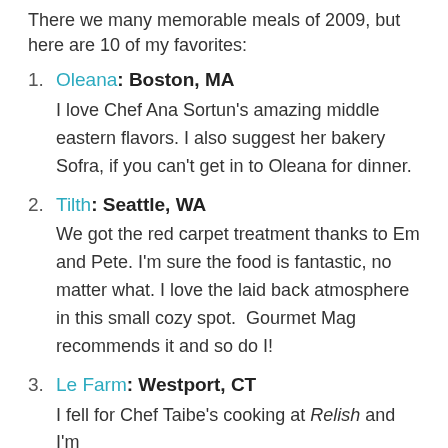There we many memorable meals of 2009, but here are 10 of my favorites:
Oleana: Boston, MA — I love Chef Ana Sortun's amazing middle eastern flavors. I also suggest her bakery Sofra, if you can't get in to Oleana for dinner.
Tilth: Seattle, WA — We got the red carpet treatment thanks to Em and Pete. I'm sure the food is fantastic, no matter what. I love the laid back atmosphere in this small cozy spot.  Gourmet Mag recommends it and so do I!
Le Farm: Westport, CT — I fell for Chef Taibe's cooking at Relish and I'm